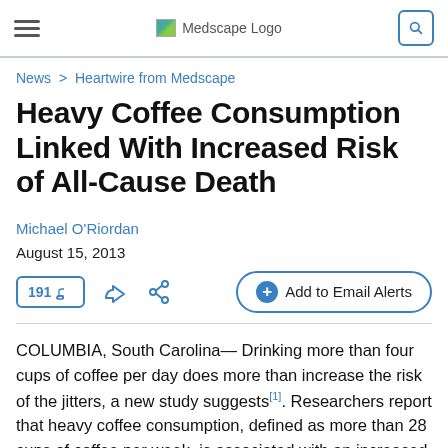Medscape Logo
News > Heartwire from Medscape
Heavy Coffee Consumption Linked With Increased Risk of All-Cause Death
Michael O'Riordan
August 15, 2013
191 [comments] [like] [share] + Add to Email Alerts
COLUMBIA, South Carolina— Drinking more than four cups of coffee per day does more than increase the risk of the jitters, a new study suggests[1]. Researchers report that heavy coffee consumption, defined as more than 28 cups of coffee per week, is associated with an increased